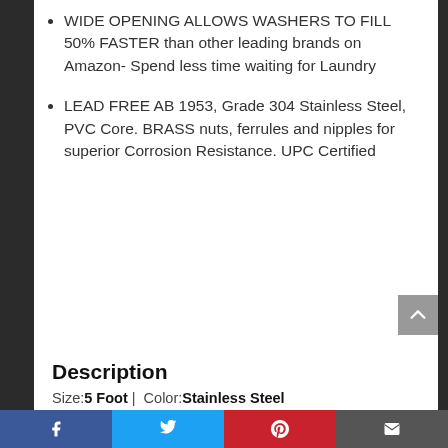WIDE OPENING ALLOWS WASHERS TO FILL 50% FASTER than other leading brands on Amazon- Spend less time waiting for Laundry
LEAD FREE AB 1953, Grade 304 Stainless Steel, PVC Core. BRASS nuts, ferrules and nipples for superior Corrosion Resistance. UPC Certified
Description
Size:5 Foot |  Color:Stainless Steel